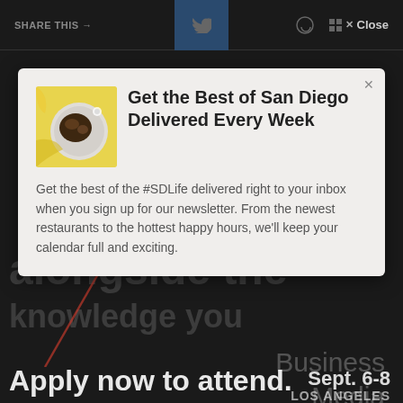SHARE THIS →    ✕ Close
[Figure (screenshot): Newsletter signup modal popup over a dark website background. Modal has food image on left, bold title 'Get the Best of San Diego Delivered Every Week', and descriptive body text about the #SDLife newsletter.]
Get the Best of San Diego Delivered Every Week
Get the best of the #SDLife delivered right to your inbox when you sign up for our newsletter. From the newest restaurants to the hottest happy hours, we'll keep your calendar full and exciting.
alongside the
Business
Media
Policy
and more
Apply now to attend.
Sept. 6-8
LOS ANGELES